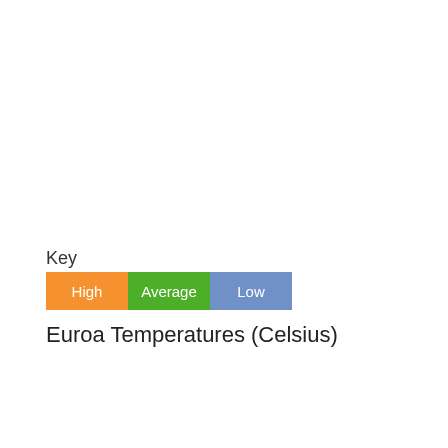Key
[Figure (infographic): Legend showing three colored boxes labeled High (orange), Average (green), and Low (blue/purple)]
Euroa Temperatures (Celsius)